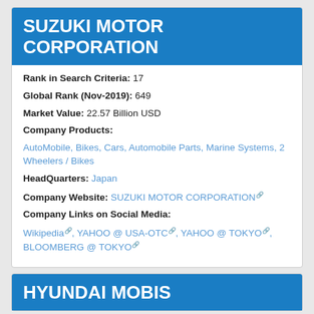SUZUKI MOTOR CORPORATION
Rank in Search Criteria: 17
Global Rank (Nov-2019): 649
Market Value: 22.57 Billion USD
Company Products:
AutoMobile, Bikes, Cars, Automobile Parts, Marine Systems, 2 Wheelers / Bikes
HeadQuarters: Japan
Company Website: SUZUKI MOTOR CORPORATION
Company Links on Social Media:
Wikipedia, YAHOO @ USA-OTC, YAHOO @ TOKYO, BLOOMBERG @ TOKYO
HYUNDAI MOBIS